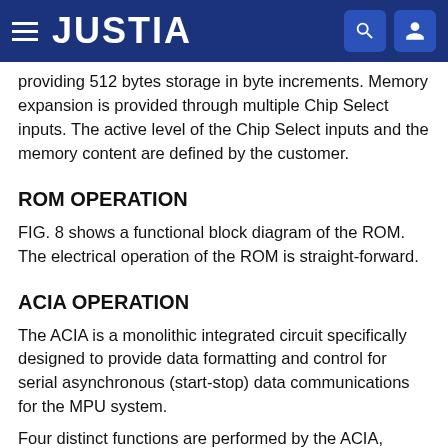JUSTIA
providing 512 bytes storage in byte increments. Memory expansion is provided through multiple Chip Select inputs. The active level of the Chip Select inputs and the memory content are defined by the customer.
ROM OPERATION
FIG. 8 shows a functional block diagram of the ROM. The electrical operation of the ROM is straight-forward.
ACIA OPERATION
The ACIA is a monolithic integrated circuit specifically designed to provide data formatting and control for serial asynchronous (start-stop) data communications for the MPU system.
Four distinct functions are performed by the ACIA, including MPU Interfacing which is performed by a data...